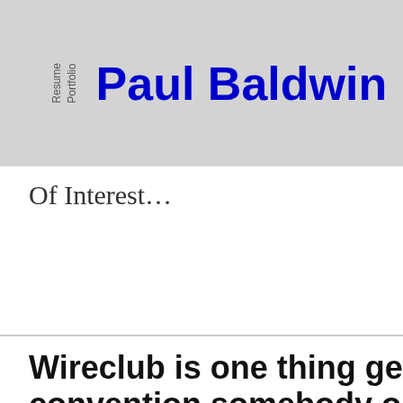Resume Portfolio Paul Baldwin
Of Interest…
Wireclub is one thing getting convention somebody on the trying to get with people, and savoring simple-heading let
by JohnMiller83
Wireclub was a patio to possess satisfying folk creating an internet business others, and you will reveling within the effortless-supposed have demostrat